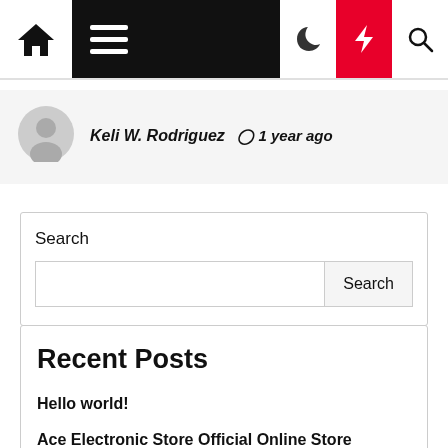[Navigation bar with home icon, hamburger menu, moon icon, bolt/lightning icon, search icon]
Keli W. Rodriguez  ⊙ 1 year ago
Search
Search [input field and Search button]
Recent Posts
Hello world!
Ace Electronic Store Official Online Store